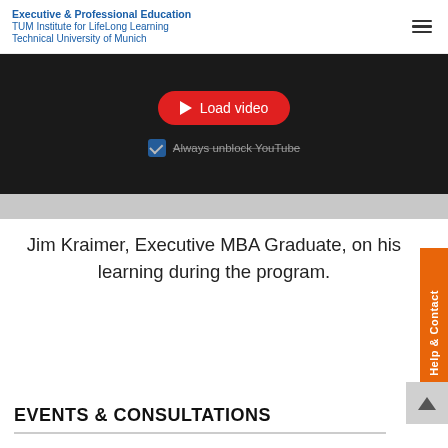Executive & Professional Education
TUM Institute for LifeLong Learning
Technical University of Munich
[Figure (screenshot): Embedded video placeholder with red 'Load video' button, checkbox 'Always unblock YouTube' text, on dark background]
Jim Kraimer, Executive MBA Graduate, on his learning during the program.
EVENTS & CONSULTATIONS